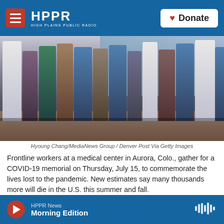HPPR HIGH PLAINS PUBLIC RADIO | Donate
[Figure (photo): Frontline healthcare workers in scrubs and white coats standing outdoors, photographed from the waist down, gathered for a COVID-19 memorial.]
Hyoung Chang/MediaNews Group / Denver Post Via Getty Images
Frontline workers at a medical center in Aurora, Colo., gather for a COVID-19 memorial on Thursday, July 15, to commemorate the lives lost to the pandemic. New estimates say many thousands more will die in the U.S. this summer and fall.
The current COVID-19 surge in the U.S. — fueled by
HPPR News Morning Edition